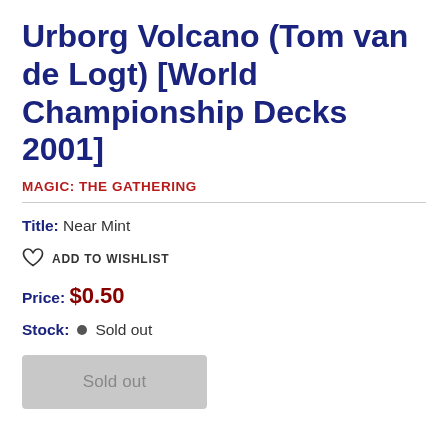Urborg Volcano (Tom van de Logt) [World Championship Decks 2001]
MAGIC: THE GATHERING
Title: Near Mint
ADD TO WISHLIST
Price: $0.50
Stock: Sold out
Sold out